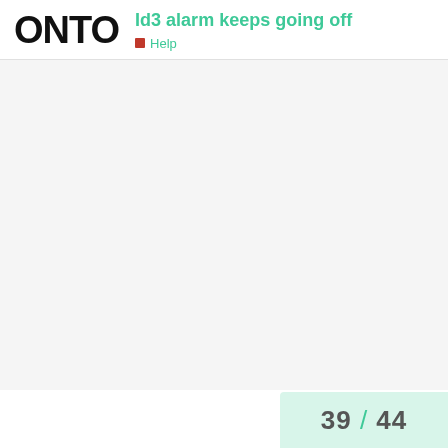[Figure (logo): ONTO logo in bold black text]
Id3 alarm keeps going off
Help
39 / 44